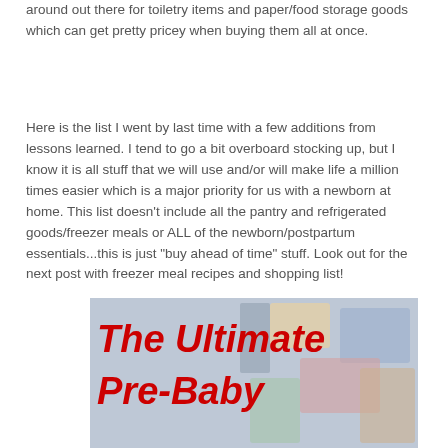around out there for toiletry items and paper/food storage goods which can get pretty pricey when buying them all at once.
Here is the list I went by last time with a few additions from lessons learned. I tend to go a bit overboard stocking up, but I know it is all stuff that we will use and/or will make life a million times easier which is a major priority for us with a newborn at home. This list doesn't include all the pantry and refrigerated goods/freezer meals or ALL of the newborn/postpartum essentials...this is just "buy ahead of time" stuff. Look out for the next post with freezer meal recipes and shopping list!
[Figure (photo): Photo with bold red italic text overlay reading 'The Ultimate Pre-Baby' on a background showing household/baby supply products]